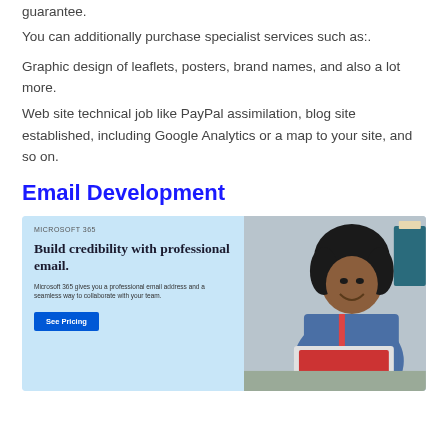guarantee.
You can additionally purchase specialist services such as:.
Graphic design of leaflets, posters, brand names, and also a lot more.
Web site technical job like PayPal assimilation, blog site established, including Google Analytics or a map to your site, and so on.
Email Development
[Figure (screenshot): Microsoft 365 advertisement banner showing 'Build credibility with professional email.' with a 'See Pricing' button on the left side, and a photo of a smiling woman using a laptop on the right side.]